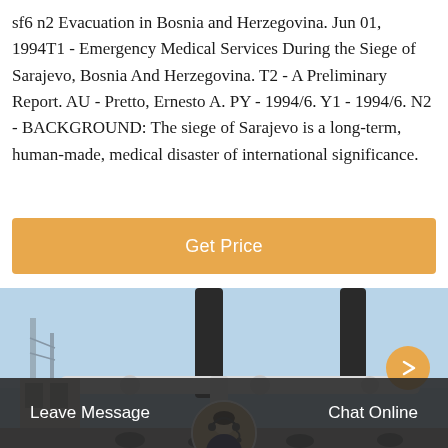sf6 n2 Evacuation in Bosnia and Herzegovina. Jun 01, 1994T1 - Emergency Medical Services During the Siege of Sarajevo, Bosnia And Herzegovina. T2 - A Preliminary Report. AU - Pretto, Ernesto A. PY - 1994/6. Y1 - 1994/6. N2 - BACKGROUND: The siege of Sarajevo is a long-term, human-made, medical disaster of international significance.
Get Price
[Figure (photo): Industrial electrical substation with large pipes, insulators, and transmission towers against a blue sky]
Leave Message
Chat Online